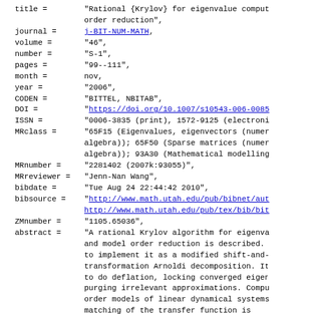BibTeX entry fragment showing fields: title, journal, volume, number, pages, month, year, CODEN, DOI, ISSN, MRclass, MRnumber, MRreviewer, bibdate, bibsource, ZMnumber, abstract